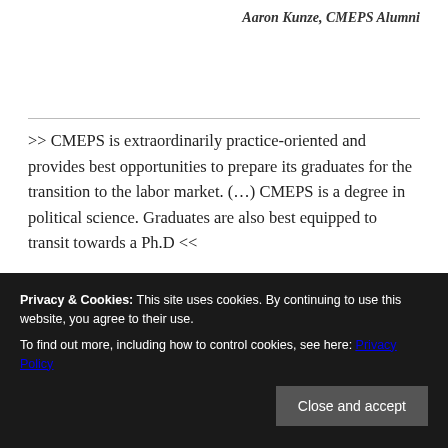Aaron Kunze, CMEPS Alumni
>> CMEPS is extraordinarily practice-oriented and provides best opportunities to prepare its graduates for the transition to the labor market. (…) CMEPS is a degree in political science. Graduates are also best equipped to transit towards a Ph.D <<
Anonymous external reviewer of CMEPS for Tübingen University's systems accreditation process, 2017/18
Privacy & Cookies: This site uses cookies. By continuing to use this website, you agree to their use.
To find out more, including how to control cookies, see here: Privacy Policy
Close and accept